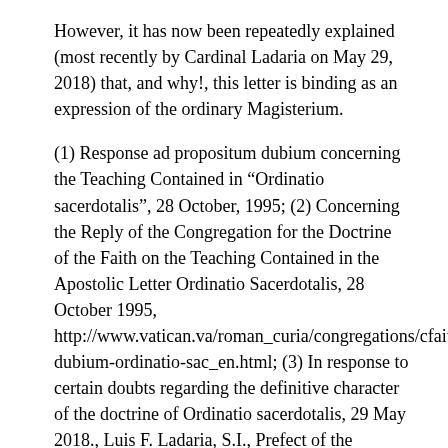However, it has now been repeatedly explained (most recently by Cardinal Ladaria on May 29, 2018) that, and why!, this letter is binding as an expression of the ordinary Magisterium.
(1) Response ad propositum dubium concerning the Teaching Contained in “Ordinatio sacerdotalis”, 28 October, 1995; (2) Concerning the Reply of the Congregation for the Doctrine of the Faith on the Teaching Contained in the Apostolic Letter Ordinatio Sacerdotalis, 28 October 1995, http://www.vatican.va/roman_curia/congregations/cfaith/documents/rc_con_cfaith_doc_19951028_commento-dubium-ordinatio-sac_en.html; (3) In response to certain doubts regarding the definitive character of the doctrine of Ordinatio sacerdotalis, 29 May 2018., Luis F. Ladaria, S.I., Prefect of the Congregation for the Doctrine of the Faith,